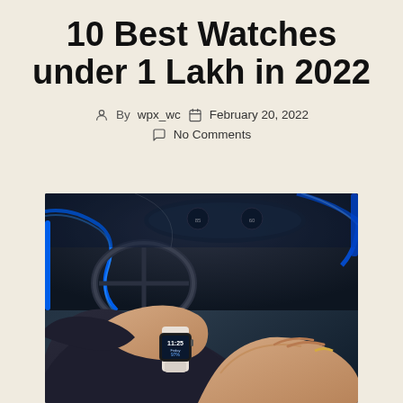10 Best Watches under 1 Lakh in 2022
By wpx_wc   February 20, 2022   No Comments
[Figure (photo): Person wearing a smartwatch on their wrist while driving a car with blue ambient lighting on the dashboard]